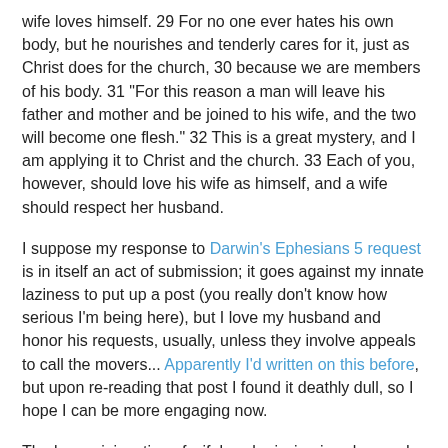wife loves himself. 29 For no one ever hates his own body, but he nourishes and tenderly cares for it, just as Christ does for the church, 30 because we are members of his body. 31 "For this reason a man will leave his father and mother and be joined to his wife, and the two will become one flesh." 32 This is a great mystery, and I am applying it to Christ and the church. 33 Each of you, however, should love his wife as himself, and a wife should respect her husband.
I suppose my response to Darwin's Ephesians 5 request is in itself an act of submission; it goes against my innate laziness to put up a post (you really don't know how serious I'm being here), but I love my husband and honor his requests, usually, unless they involve appeals to call the movers... Apparently I'd written on this before, but upon re-reading that post I found it deathly dull, so I hope I can be more engaging now.
The lesser injunction of wifely submission is subsumed in Paul's larger points: "Be subject to one another out of reverence for Christ." (5:21) and "Each of you, however, should love his wife as himself, and a wife should respect her husband." (5:33) The first of these is directed toward all Christians; the second, toward both spouses. I should say